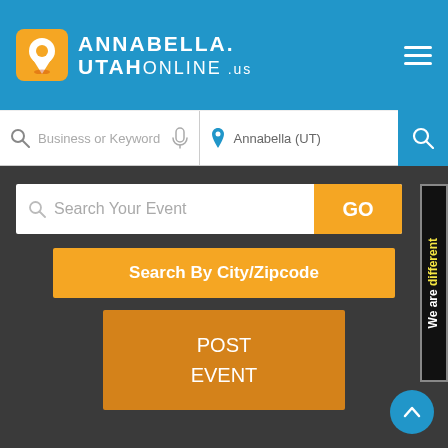[Figure (logo): Annabella Utah Online .us logo with map pin icon on blue header background]
Business or Keyword
Annabella (UT)
Search Your Event
GO
Search By City/Zipcode
POST EVENT
We are different